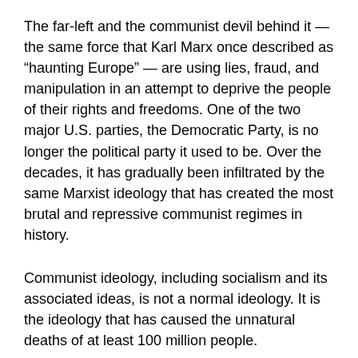The far-left and the communist devil behind it — the same force that Karl Marx once described as “haunting Europe” — are using lies, fraud, and manipulation in an attempt to deprive the people of their rights and freedoms. One of the two major U.S. parties, the Democratic Party, is no longer the political party it used to be. Over the decades, it has gradually been infiltrated by the same Marxist ideology that has created the most brutal and repressive communist regimes in history.
Communist ideology, including socialism and its associated ideas, is not a normal ideology. It is the ideology that has caused the unnatural deaths of at least 100 million people.
The communist ideology uses seemingly righteous concepts, such as “equality” and “political correctness,” to confuse people. Its ideology has infiltrated all fields in our society, including education, media, and art. It unscrupulously destroys everything traditional, including faith, religion, morality, culture,